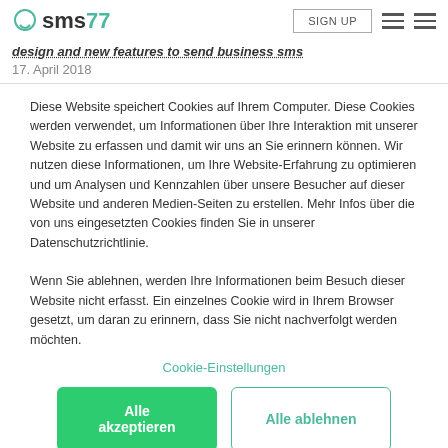sms77 — SIGN UP
design and new features to send business sms
17. April 2018
Diese Website speichert Cookies auf Ihrem Computer. Diese Cookies werden verwendet, um Informationen über Ihre Interaktion mit unserer Website zu erfassen und damit wir uns an Sie erinnern können. Wir nutzen diese Informationen, um Ihre Website-Erfahrung zu optimieren und um Analysen und Kennzahlen über unsere Besucher auf dieser Website und anderen Medien-Seiten zu erstellen. Mehr Infos über die von uns eingesetzten Cookies finden Sie in unserer Datenschutzrichtlinie.

Wenn Sie ablehnen, werden Ihre Informationen beim Besuch dieser Website nicht erfasst. Ein einzelnes Cookie wird in Ihrem Browser gesetzt, um daran zu erinnern, dass Sie nicht nachverfolgt werden möchten.
Cookie-Einstellungen
Alle akzeptieren
Alle ablehnen